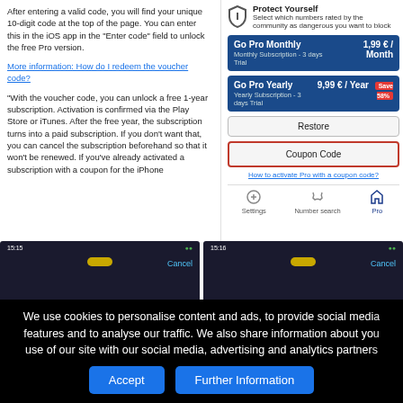After entering a valid code, you will find your unique 10-digit code at the top of the page. You can enter this in the iOS app in the "Enter code" field to unlock the free Pro version.
More information: How do I redeem the voucher code?
*With the voucher code, you can unlock a free 1-year subscription. Activation is confirmed via the Play Store or iTunes. After the free year, the subscription turns into a paid subscription. If you don't want that, you can cancel the subscription beforehand so that it won't be renewed. If you've already activated a subscription with a coupon for the iPhone
[Figure (screenshot): App screenshot showing Go Pro subscription page with shield icon, Monthly and Yearly options, Restore and Coupon Code buttons]
[Figure (screenshot): Mobile phone screenshot 1 showing dark background with Cancel button and red phone icon]
[Figure (screenshot): Mobile phone screenshot 2 showing dark background with Cancel button and red phone icon]
We use cookies to personalise content and ads, to provide social media features and to analyse our traffic. We also share information about your use of our site with our social media, advertising and analytics partners